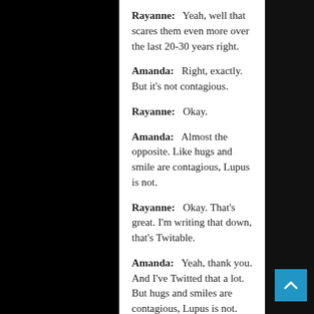Rayanne: Yeah, well that scares them even more over the last 20-30 years right.
Amanda: Right, exactly. But it's not contagious.
Rayanne: Okay.
Amanda: Almost the opposite. Like hugs and smile are contagious, Lupus is not.
Rayanne: Okay. That's great. I'm writing that down, that's Twitable.
Amanda: Yeah, thank you. And I've Twitted that a lot. But hugs and smiles are contagious, Lupus is not. But it's an auto-immune disease, which means that my auto-immune disease, my immune system tends to overreact. So flying to Chicago, somebody